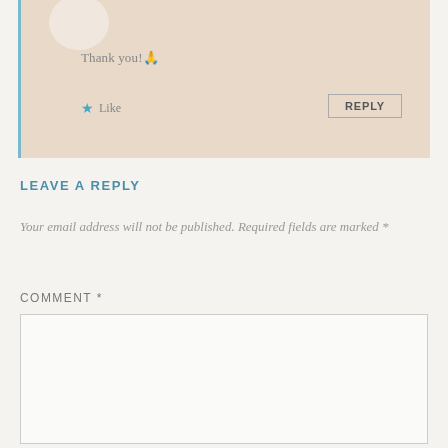Thank you!🙏
★ Like
REPLY
LEAVE A REPLY
Your email address will not be published. Required fields are marked *
COMMENT *